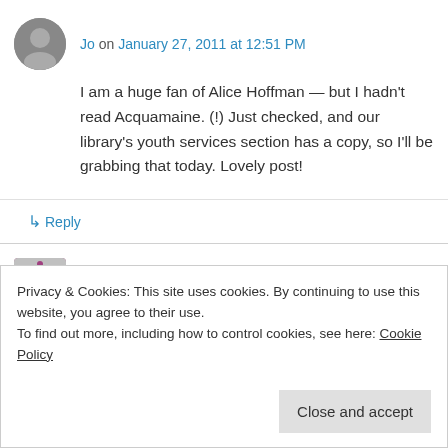Jo on January 27, 2011 at 12:51 PM
I am a huge fan of Alice Hoffman — but I hadn't read Acquamaine. (!) Just checked, and our library's youth services section has a copy, so I'll be grabbing that today. Lovely post!
↳ Reply
Camille on January 27, 2011 at 2:13 PM
Privacy & Cookies: This site uses cookies. By continuing to use this website, you agree to their use. To find out more, including how to control cookies, see here: Cookie Policy
Close and accept
PM